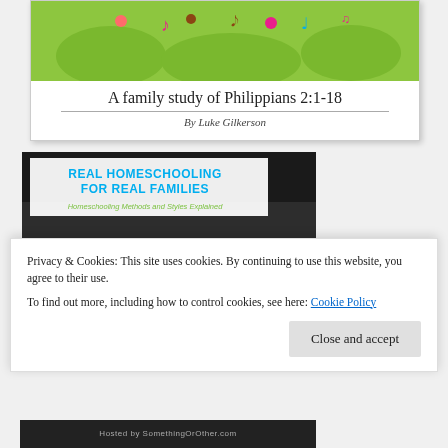[Figure (illustration): Top portion of a book cover with green illustrated background featuring cartoon figures and musical notes]
A family study of Philippians 2:1-18
By Luke Gilkerson
[Figure (illustration): Book cover for 'Real Homeschooling for Real Families - Homeschooling Methods and Styles Explained' by Charlotte Mason on dark background]
Privacy & Cookies: This site uses cookies. By continuing to use this website, you agree to their use.
To find out more, including how to control cookies, see here: Cookie Policy
Close and accept